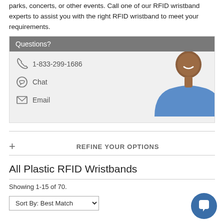parks, concerts, or other events. Call one of our RFID wristband experts to assist you with the right RFID wristband to meet your requirements.
[Figure (infographic): Contact box with gray header 'Questions?', phone number 1-833-299-1686, Chat, and Email options with icons, and a photo of a smiling man in a blue shirt on the right side.]
+ REFINE YOUR OPTIONS
All Plastic RFID Wristbands
Showing 1-15 of 70.
Sort By: Best Match